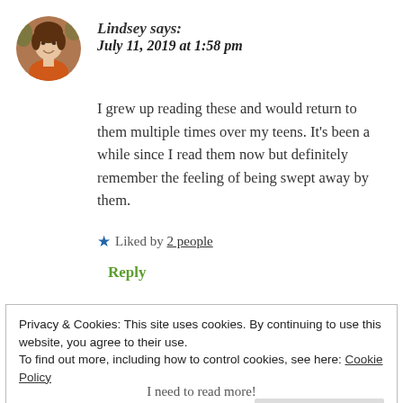[Figure (photo): Circular avatar photo of a young woman with light skin and dark hair, wearing an orange top, outdoors with green foliage background.]
Lindsey says:
July 11, 2019 at 1:58 pm
I grew up reading these and would return to them multiple times over my teens. It's been a while since I read them now but definitely remember the feeling of being swept away by them.
★ Liked by 2 people
Reply
Privacy & Cookies: This site uses cookies. By continuing to use this website, you agree to their use.
To find out more, including how to control cookies, see here: Cookie Policy
Close and accept
I need to read more!